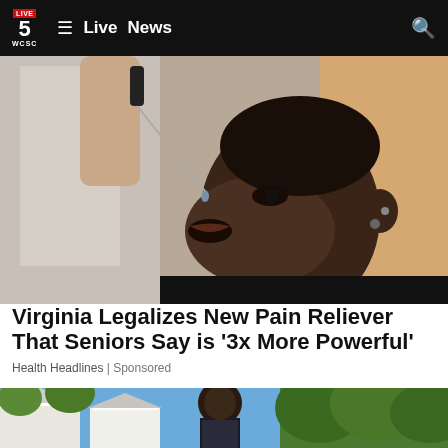Live 5 WCSC | Live  News
[Figure (photo): Close-up of a woman tilting her head back, receiving drops from a dropper bottle into her mouth, with blurred background]
Virginia Legalizes New Pain Reliever That Seniors Say is ‘3x More Powerful’
Health Headlines | Sponsored
[Figure (photo): Young man standing in front of houses and trees on a sunny day]